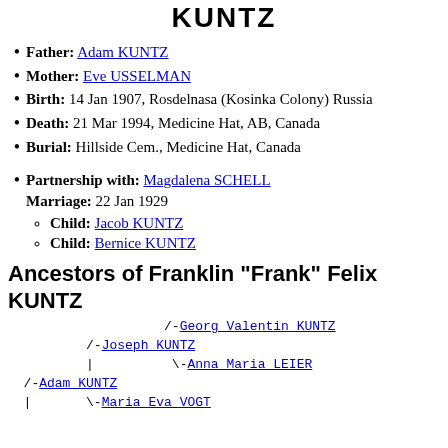KUNTZ
Father: Adam KUNTZ
Mother: Eve USSELMAN
Birth: 14 Jan 1907, Rosdelnasa (Kosinka Colony) Russia
Death: 21 Mar 1994, Medicine Hat, AB, Canada
Burial: Hillside Cem., Medicine Hat, Canada
Partnership with: Magdalena SCHELL
Marriage: 22 Jan 1929
Child: Jacob KUNTZ
Child: Bernice KUNTZ
Ancestors of Franklin "Frank" Felix KUNTZ
/-Georg Valentin KUNTZ
/-Joseph KUNTZ
| \-Anna Maria LEIER
/-Adam KUNTZ
| \-Maria Eva VOGT